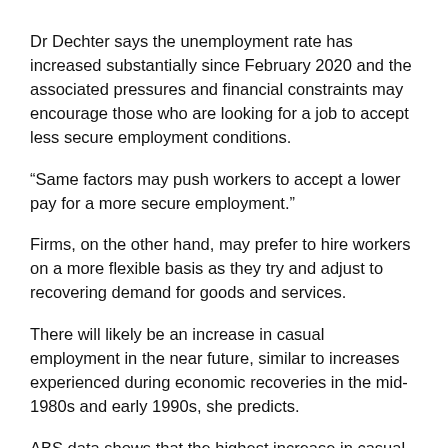Dr Dechter says the unemployment rate has increased substantially since February 2020 and the associated pressures and financial constraints may encourage those who are looking for a job to accept less secure employment conditions.
“Same factors may push workers to accept a lower pay for a more secure employment.”
Firms, on the other hand, may prefer to hire workers on a more flexible basis as they try and adjust to recovering demand for goods and services.
There will likely be an increase in casual employment in the near future, similar to increases experienced during economic recoveries in the mid-1980s and early 1990s, she predicts.
ABS data shows that the highest increase in casual employment in Australia occurred between the mid-1980s and early 1990s, and was more than 50 per cent.
“This was the period of recession and recovery. The increase in casual employment, according the ABS data, between 1996 and